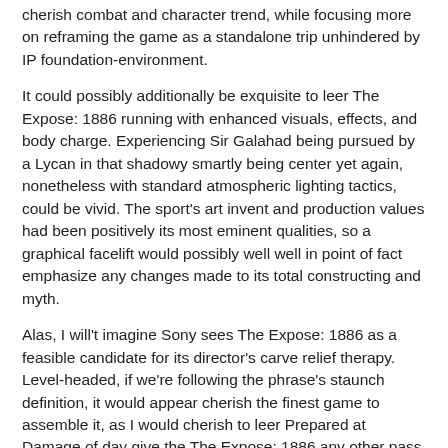cherish combat and character trend, while focusing more on reframing the game as a standalone trip unhindered by IP foundation-environment.
It could possibly additionally be exquisite to leer The Expose: 1886 running with enhanced visuals, effects, and body charge. Experiencing Sir Galahad being pursued by a Lycan in that shadowy smartly being center yet again, nonetheless with standard atmospheric lighting tactics, could be vivid. The sport's art invent and production values had been positively its most eminent qualities, so a graphical facelift would possibly well well in point of fact emphasize any changes made to its total constructing and myth.
Alas, I will't imagine Sony sees The Expose: 1886 as a feasible candidate for its director's carve relief therapy. Level-headed, if we're following the phrase's staunch definition, it would appear cherish the finest game to assemble it, as I would cherish to leer Prepared at Damage of day give the The Expose: 1886 any other pass. Sadly, the developer turned into got by Oculus Studios closing 365 days,